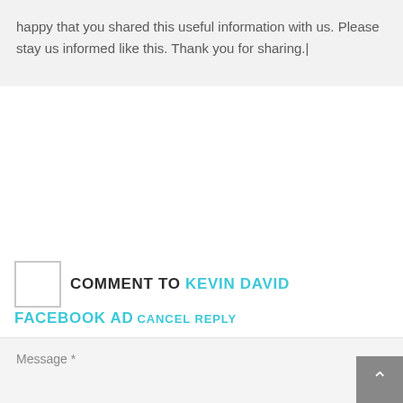happy that you shared this useful information with us. Please stay us informed like this. Thank you for sharing.|
COMMENT TO KEVIN DAVID FACEBOOK AD CANCEL REPLY
Message *